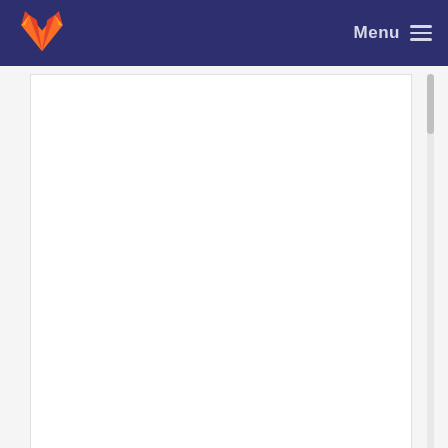Menu
Add check for <assert.h> and put include in right f... Kurt Zeilenga committed 23 years ago